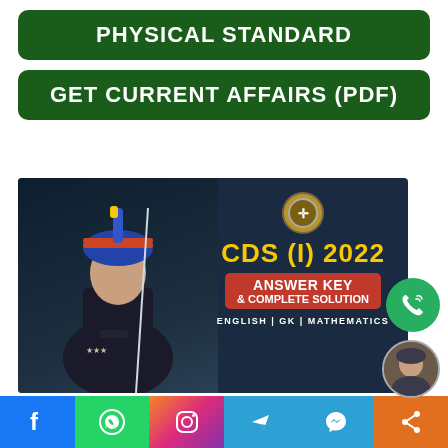PHYSICAL STANDARD
GET CURRENT AFFAIRS (PDF)
[Figure (infographic): Advertisement banner for CDS (I) 2022 Answer Key and Complete Solution showing a military officer in dress uniform holding a sword, with text: CDS (I) 2022 ANSWER KEY & COMPLETE SOLUTION, ENGLISH | GK | MATHEMATICS]
Social media share bar with Facebook, WhatsApp, Instagram, Telegram, Messenger, and Share icons